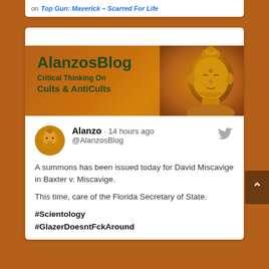on Top Gun: Maverick – Scarred For Life
[Figure (illustration): AlalanzosBlog banner with golden Buddha statue. Text reads: AlanzosBlog – Critical Thinking On Cults & AntiCults]
Alanzo · 14 hours ago
@AlanzosBlog
A summons has been issued today for David Miscavige in Baxter v. Miscavige.
This time, care of the Florida Secretary of State.
#Scientology
#GlazerDoesntFckAround